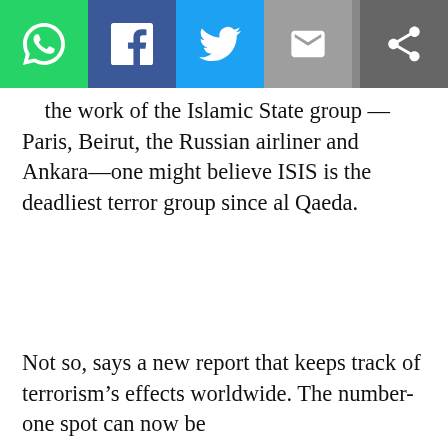Social share toolbar with WhatsApp, Facebook, Twitter, Email, and Share buttons
the work of the Islamic State group — Paris, Beirut, the Russian airliner and Ankara—one might believe ISIS is the deadliest terror group since al Qaeda.
Not so, says a new report that keeps track of terrorism's effects worldwide. The number-one spot can now be